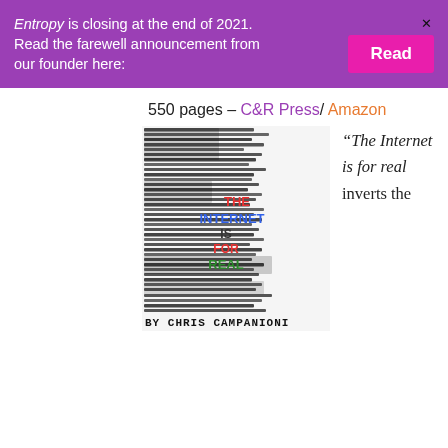Entropy is closing at the end of 2021. Read the farewell announcement from our founder here: [Read button]
550 pages – C&R Press/ Amazon
[Figure (illustration): Book cover of 'The Internet is for Real' by Chris Campanioni — dense text collage in black with colorful title text overlay in red, blue, green: THE INTERNET IS FOR REAL, and handwritten author name at bottom BY CHRIS CAMPANIONI]
“The Internet is for real inverts the